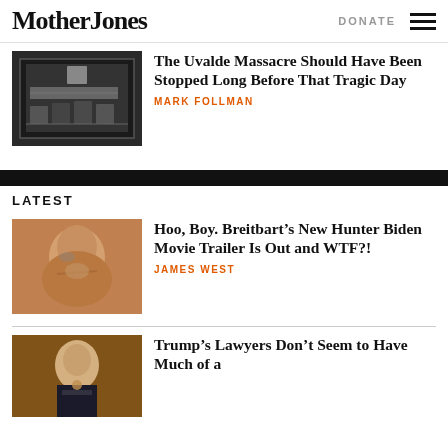Mother Jones | DONATE
[Figure (photo): Black and white photo of an empty classroom with desks and a chalkboard]
The Uvalde Massacre Should Have Been Stopped Long Before That Tragic Day
MARK FOLLMAN
LATEST
[Figure (photo): Color photo of a person with hand on chin, looking pensively]
Hoo, Boy. Breitbart’s New Hunter Biden Movie Trailer Is Out and WTF?!
JAMES WEST
[Figure (photo): Color photo of a person in a tuxedo speaking at a podium]
Trump’s Lawyers Don’t Seem to Have Much of a